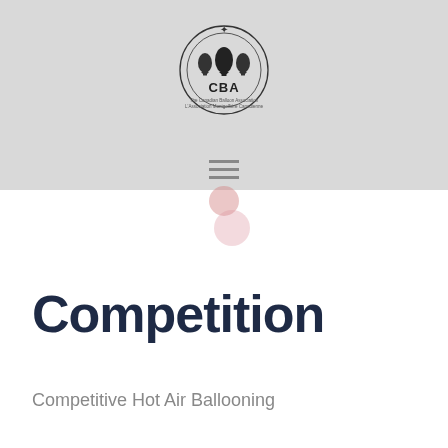[Figure (logo): CBA (Canadian Balloon Association / L'Association Montgolfière Canadienne) logo — three hot air balloon silhouettes inside a circle with a maple leaf crown above, text 'CBA' in center, subtitle text below]
Competition
Competitive Hot Air Ballooning